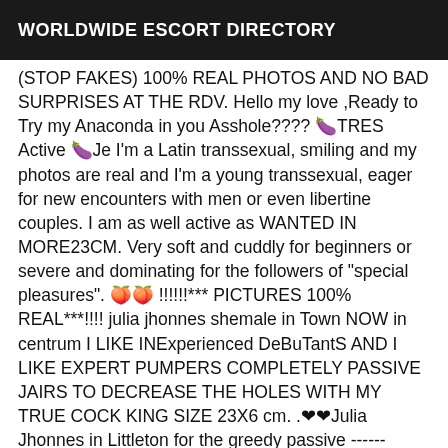WORLDWIDE ESCORT DIRECTORY
(STOP FAKES) 100% REAL PHOTOS AND NO BAD SURPRISES AT THE RDV. Hello my love ,Ready to Try my Anaconda in you Asshole???? 🍆TRES Active 🍆Je I'm a Latin transsexual, smiling and my photos are real and I'm a young transsexual, eager for new encounters with men or even libertine couples. I am as well active as WANTED IN MORE23CM. Very soft and cuddly for beginners or severe and dominating for the followers of "special pleasures". 🍑🍑 !!!!!!*** PICTURES 100% REAL***!!!! julia jhonnes shemale in Town NOW in centrum I LIKE INExperienced DeBuTantS AND I LIKE EXPERT PUMPERS COMPLETELY PASSIVE JAIRS TO DECREASE THE HOLES WITH MY TRUE COCK KING SIZE 23X6 cm. .❤❤Julia Jhonnes in Littleton for the greedy passive ------ PRIVATE AND DISCRETE------ (STOP FAKES) 100% REAL PHOTOS AND NO BAD SURPRISES AT THE RDV. Hello my love ,Ready to Try my Anaconda in you Asshole???? 🍆TRES Active 🍆Je I'm